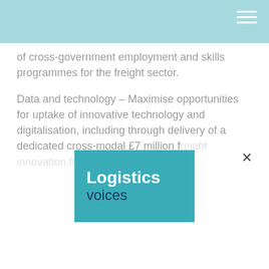of cross-government employment and skills programmes for the freight sector.
Data and technology – Maximise opportunities for uptake of innovative technology and digitalisation, including through delivery of a dedicated cross-modal £7 million freight innovation fund.
[Figure (logo): Logistics Voices logo — white bold 'Logistics' text and dark blue 'voices' text on teal background square]
This website uses cookies in order to improve the site and user experience. By continuing to use it, you agree to our Privacy Policy.
I understand